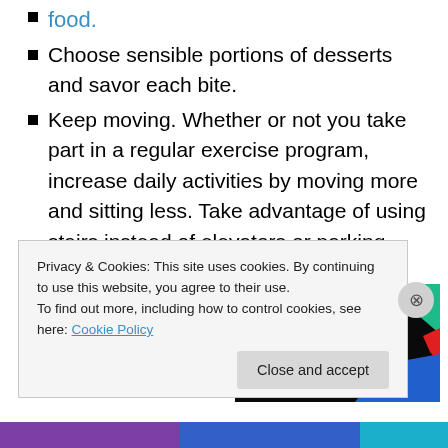food.
Choose sensible portions of desserts and savor each bite.
Keep moving. Whether or not you take part in a regular exercise program, increase daily activities by moving more and sitting less. Take advantage of using stairs instead of elevators or parking farther from your destination. Every calorie burned counts.
[Figure (photo): Podcast cover art for 99% Invisible showing black background with yellow and white text and colored geometric shapes]
Privacy & Cookies: This site uses cookies. By continuing to use this website, you agree to their use.
To find out more, including how to control cookies, see here: Cookie Policy
Close and accept